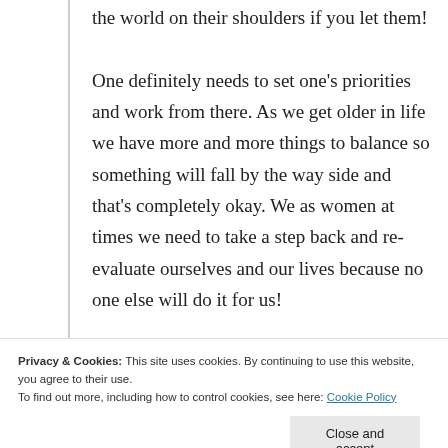the world on their shoulders if you let them! One definitely needs to set one's priorities and work from there. As we get older in life we have more and more things to balance so something will fall by the way side and that's completely okay. We as women at times we need to take a step back and re-evaluate ourselves and our lives because no one else will do it for us!
Privacy & Cookies: This site uses cookies. By continuing to use this website, you agree to their use. To find out more, including how to control cookies, see here: Cookie Policy
Close and accept